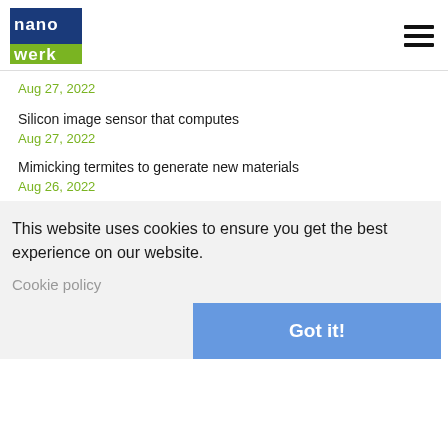nanowerk [logo] [hamburger menu]
Aug 27, 2022
Silicon image sensor that computes
Aug 27, 2022
Mimicking termites to generate new materials
Aug 26, 2022
Glass nanoparticles show unexpected coupling when levitated with green light
...controlling the color of thin-solid films with advanced-...method
Small molecular gain (Landau) potential
Aug 26, 2022
This website uses cookies to ensure you get the best experience on our website.
Cookie policy
Got it!